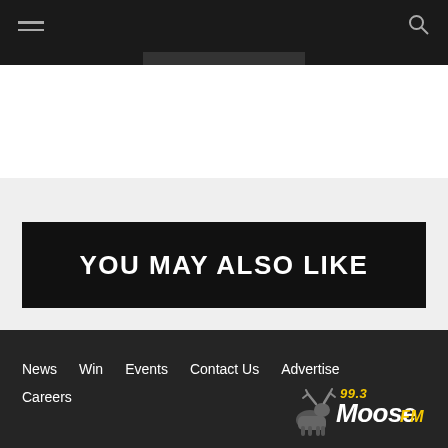YOU MAY ALSO LIKE
News  Win  Events  Contact Us  Advertise  Careers
[Figure (logo): 99.3 Moose FM radio station logo with moose icon, yellow and white text on dark background]